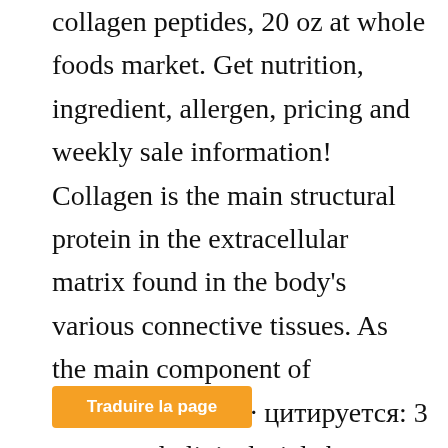collagen peptides, 20 oz at whole foods market. Get nutrition, ingredient, allergen, pricing and weekly sale information! Collagen is the main structural protein in the extracellular matrix found in the body's various connective tissues. As the main component of connective. 2017 · цитируется: 3 — several clinical trials have shown that resistance training in combination with protein supplementation improves muscle mass and function by e. Still, one scoop of generally has about 35
[Figure (other): Orange 'Traduire la page' (Translate the page) button overlay at bottom left of the content area]